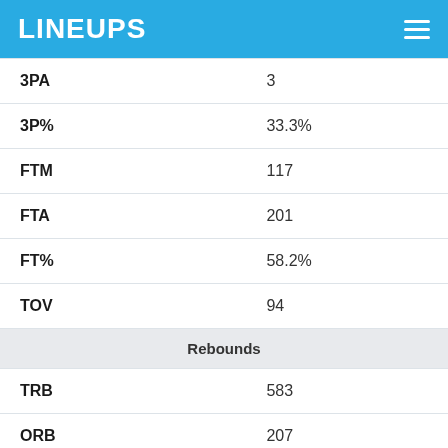LINEUPS
| Stat | Value |
| --- | --- |
| 3PA | 3 |
| 3P% | 33.3% |
| FTM | 117 |
| FTA | 201 |
| FT% | 58.2% |
| TOV | 94 |
| Rebounds |  |
| TRB | 583 |
| ORB | 207 |
| DRB | 376 |
| Defense |  |
| STL | 51 |